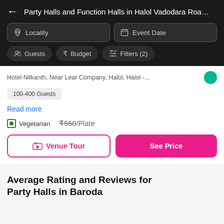Party Halls and Function Halls in Halol Vadodara Road, B
Locality
Event Date
Guests
Budget
Filters (2)
Hotel Nilkanth, Near Lear Company, Halol, Halol -...
100-400 Guests
Read more
Vegetarian
₹550/Plate
Venue Tour
See Price
Average Rating and Reviews for Party Halls in Baroda